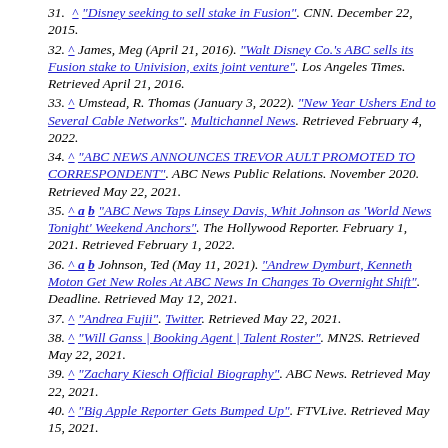31. ^ "Disney seeking to sell stake in Fusion". CNN. December 22, 2015.
32. ^ James, Meg (April 21, 2016). "Walt Disney Co.'s ABC sells its Fusion stake to Univision, exits joint venture". Los Angeles Times. Retrieved April 21, 2016.
33. ^ Umstead, R. Thomas (January 3, 2022). "New Year Ushers End to Several Cable Networks". Multichannel News. Retrieved February 4, 2022.
34. ^ "ABC NEWS ANNOUNCES TREVOR AULT PROMOTED TO CORRESPONDENT". ABC News Public Relations. November 2020. Retrieved May 22, 2021.
35. ^ a b "ABC News Taps Linsey Davis, Whit Johnson as 'World News Tonight' Weekend Anchors". The Hollywood Reporter. February 1, 2021. Retrieved February 1, 2022.
36. ^ a b Johnson, Ted (May 11, 2021). "Andrew Dymburt, Kenneth Moton Get New Roles At ABC News In Changes To Overnight Shift". Deadline. Retrieved May 12, 2021.
37. ^ "Andrea Fujii". Twitter. Retrieved May 22, 2021.
38. ^ "Will Ganss | Booking Agent | Talent Roster". MN2S. Retrieved May 22, 2021.
39. ^ "Zachary Kiesch Official Biography". ABC News. Retrieved May 22, 2021.
40. ^ "Big Apple Reporter Gets Bumped Up". FTVLive. Retrieved May 15, 2021.